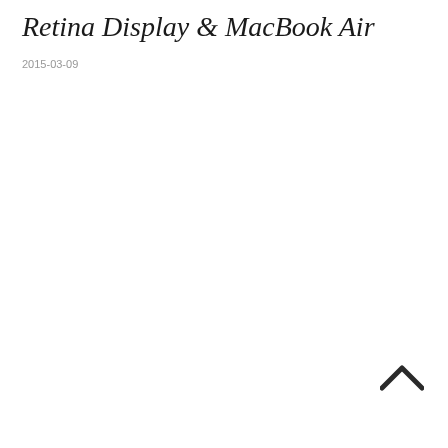Retina Display & MacBook Air
2015-03-09
[Figure (other): Upward-pointing chevron/caret navigation icon in dark gray, positioned in the lower right area of the page.]